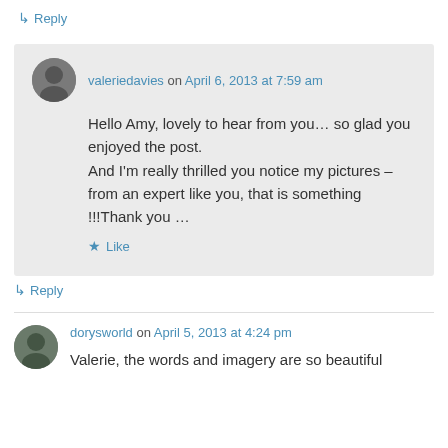↳ Reply
valeriedavies on April 6, 2013 at 7:59 am
Hello Amy, lovely to hear from you… so glad you enjoyed the post.
And I'm really thrilled you notice my pictures – from an expert like you, that is something !!!Thank you …
★ Like
↳ Reply
dorysworld on April 5, 2013 at 4:24 pm
Valerie, the words and imagery are so beautiful